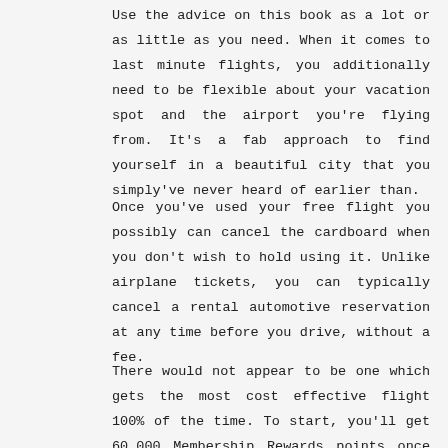Use the advice on this book as a lot or as little as you need. When it comes to last minute flights, you additionally need to be flexible about your vacation spot and the airport you're flying from. It's a fab approach to find yourself in a beautiful city that you simply've never heard of earlier than.
Once you've used your free flight you possibly can cancel the cardboard when you don't wish to hold using it. Unlike airplane tickets, you can typically cancel a rental automotive reservation at any time before you drive, without a fee.
There would not appear to be one which gets the most cost effective flight 100% of the time. To start, you'll get 60,000 Membership Rewards points once you spend